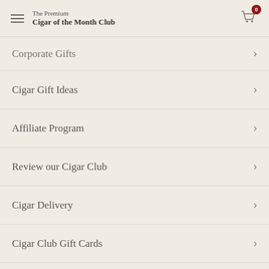The Premium Cigar of the Month Club
Corporate Gifts
Cigar Gift Ideas
Affiliate Program
Review our Cigar Club
Cigar Delivery
Cigar Club Gift Cards
Accessibility Statement